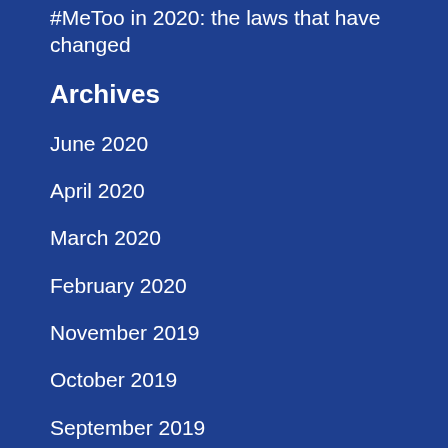#MeToo in 2020: the laws that have changed
Archives
June 2020
April 2020
March 2020
February 2020
November 2019
October 2019
September 2019
August 2019